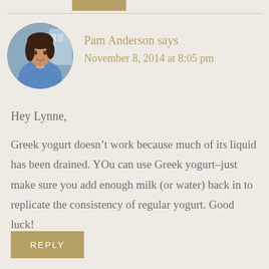[Figure (photo): Round avatar photo of Pam Anderson, a woman with dark hair wearing a blue top, standing near kitchen equipment]
Pam Anderson says
November 8, 2014 at 8:05 pm
Hey Lynne,
Greek yogurt doesn’t work because much of its liquid has been drained. YOu can use Greek yogurt–just make sure you add enough milk (or water) back in to replicate the consistency of regular yogurt. Good luck!
REPLY